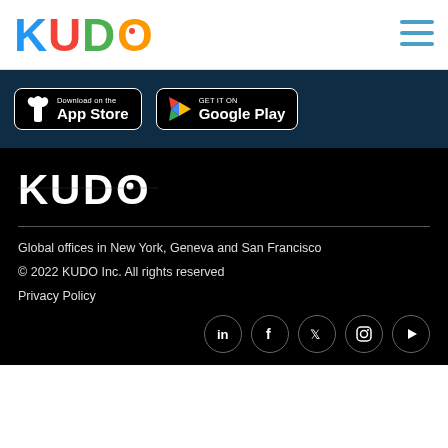[Figure (logo): KUDO colorful logo in header]
[Figure (logo): Hamburger menu icon (three teal lines)]
[Figure (logo): Download on the App Store button]
[Figure (logo): Get it on Google Play button]
[Figure (logo): KUDO white logo on black background]
Global offices in New York, Geneva and San Francisco
© 2022 KUDO Inc. All rights reserved
Privacy Policy
[Figure (infographic): Social media icons: LinkedIn, Facebook, Twitter, Instagram, YouTube]